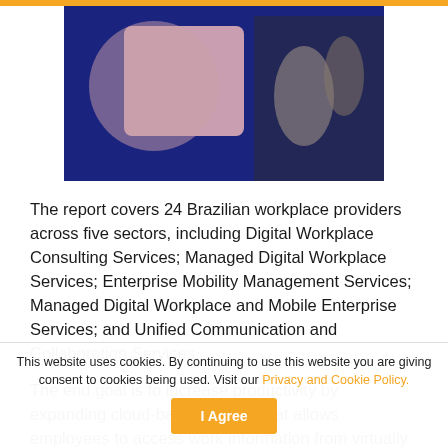[Figure (photo): A cropped hero image on a dark navy background showing people in a meeting, with a pink/mauve geometric shape overlay. Partially visible at top of page.]
The report covers 24 Brazilian workplace providers across five sectors, including Digital Workplace Consulting Services; Managed Digital Workplace Services; Enterprise Mobility Management Services; Managed Digital Workplace and Mobile Enterprise Services; and Unified Communication and Collaboration Services.
The end goal is to increase productivity by expanding cloud-based access that allows employees to access work information from virtually anywhere, on any device.
This website uses cookies. By continuing to use this website you are giving consent to cookies being used. Visit our Privacy and Cookie Policy.